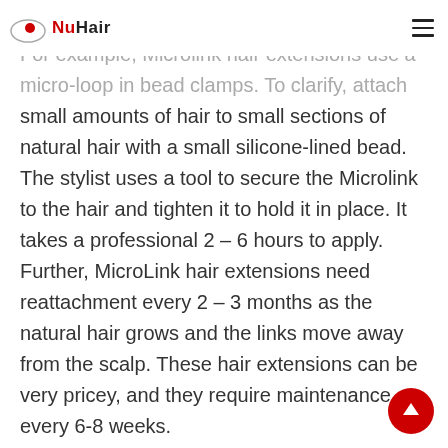NuHair
addition in place and does not require glue. For example, Microlink hair extensions use a micro-loop in bead clamps. To clarify, attach small amounts of hair to small sections of natural hair with a small silicone-lined bead. The stylist uses a tool to secure the Microlink to the hair and tighten it to hold it in place. It takes a professional 2 – 6 hours to apply. Further, MicroLink hair extensions need reattachment every 2 – 3 months as the natural hair grows and the links move away from the scalp. These hair extensions can be very pricey, and they require maintenance every 6-8 weeks.
Microlink hair extensions can damage the hair if the bead is too tight, causing pressure and